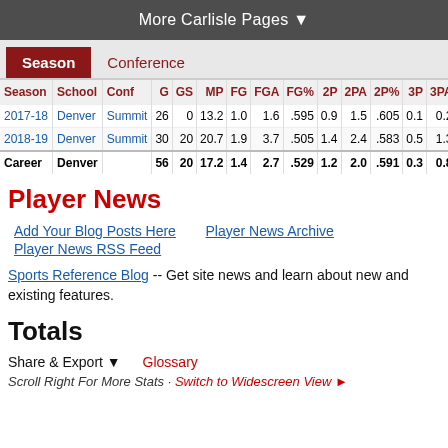More Carlisle Pages ▼
| Season | School | Conf | G | GS | MP | FG | FGA | FG% | 2P | 2PA | 2P% | 3P | 3PA | 3... |
| --- | --- | --- | --- | --- | --- | --- | --- | --- | --- | --- | --- | --- | --- | --- |
| 2017-18 | Denver | Summit | 26 | 0 | 13.2 | 1.0 | 1.6 | .595 | 0.9 | 1.5 | .605 | 0.1 | 0.2 | .5 |
| 2018-19 | Denver | Summit | 30 | 20 | 20.7 | 1.9 | 3.7 | .505 | 1.4 | 2.4 | .583 | 0.5 | 1.3 | .3 |
| Career | Denver |  | 56 | 20 | 17.2 | 1.4 | 2.7 | .529 | 1.2 | 2.0 | .591 | 0.3 | 0.8 | .3 |
Player News
Add Your Blog Posts Here
Player News Archive
Player News RSS Feed
Sports Reference Blog -- Get site news and learn about new and existing features.
Totals
Share & Export ▼   Glossary
Scroll Right For More Stats · Switch to Widescreen View ►